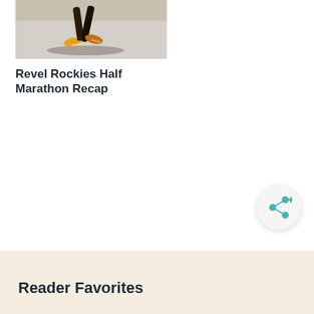[Figure (photo): A runner's legs and feet in motion on pavement, wearing running shoes and a GPS watch, with a shadow cast on the ground.]
Revel Rockies Half Marathon Recap
[Figure (infographic): A circular share button with a teal share/add icon (three connected nodes with a plus sign) on a light grey background.]
Reader Favorites